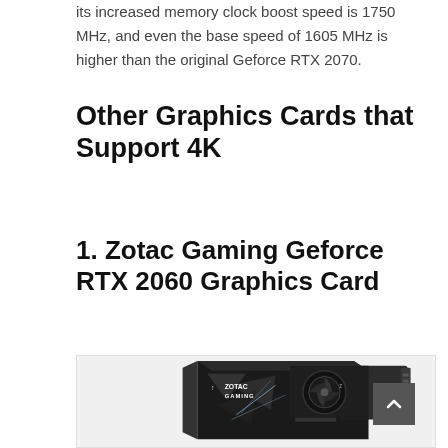its increased memory clock boost speed is 1750 MHz, and even the base speed of 1605 MHz is higher than the original Geforce RTX 2070.
Other Graphics Cards that Support 4K
1. Zotac Gaming Geforce RTX 2060 Graphics Card
[Figure (photo): Product photo of Zotac Gaming Geforce RTX 2060 Graphics Card showing the card next to its box (black packaging with geometric design and ZOTAC GAMING branding)]